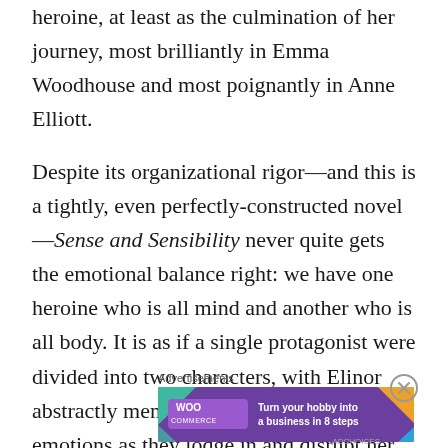heroine, at least as the culmination of her journey, most brilliantly in Emma Woodhouse and most poignantly in Anne Elliott.
Despite its organizational rigor—and this is a tightly, even perfectly-constructed novel—Sense and Sensibility never quite gets the emotional balance right: we have one heroine who is all mind and another who is all body. It is as if a single protagonist were divided into two characters, with Elinor abstractly mentating upon her own emotions as they lodge in and disrupt her sister's errant
Advertisements
[Figure (other): WooCommerce advertisement banner: purple background with WooCommerce logo on left and text 'Turn your hobby into a business in 8 steps' on right, with decorative teal and orange triangle shapes.]